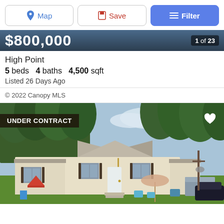[Figure (screenshot): Toolbar with Map, Save, and Filter buttons]
[Figure (photo): Property price bar showing $800,000 with '1 of 23' badge on dark background]
High Point
5 beds  4 baths  4,500 sqft
Listed 26 Days Ago
© 2022 Canopy MLS
[Figure (photo): Exterior photo of a single-story manufactured/mobile home with beige siding, brown shutters, front door with steps, patio furniture including chairs and a closed umbrella, children's play structure on left, a camper/trailer and dark SUV on the right, surrounded by green lawn and tall trees in background. UNDER CONTRACT badge in upper left, heart icon upper right.]